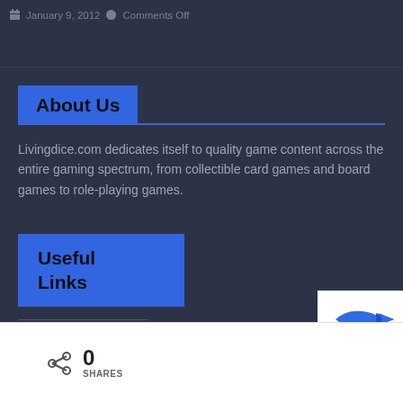January 9, 2012   Comments Off
About Us
Livingdice.com dedicates itself to quality game content across the entire gaming spectrum, from collectible card games and board games to role-playing games.
Useful Links
[Figure (logo): Blue fish/arrow logo in white box at bottom right]
0 SHARES